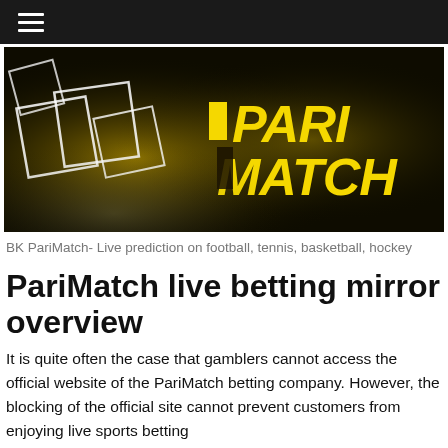≡
[Figure (photo): PariMatch promotional banner with yellow geometric shapes and bold yellow PARIMATCH logo text on a dark dramatic background]
BK PariMatch- Live prediction on football, tennis, basketball, hockey
PariMatch live betting mirror overview
It is quite often the case that gamblers cannot access the official website of the PariMatch betting company. However, the blocking of the official site cannot prevent customers from enjoying live sports betting